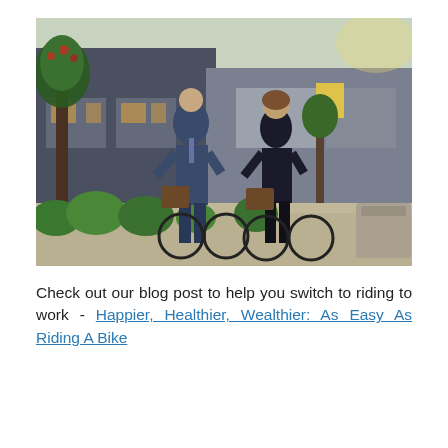[Figure (photo): Two professionals (a man in a suit and a woman in a dark dress) riding bicycles with wicker baskets along a city street lined with trees and shops.]
Check out our blog post to help you switch to riding to work - Happier, Healthier, Wealthier: As Easy As Riding A Bike